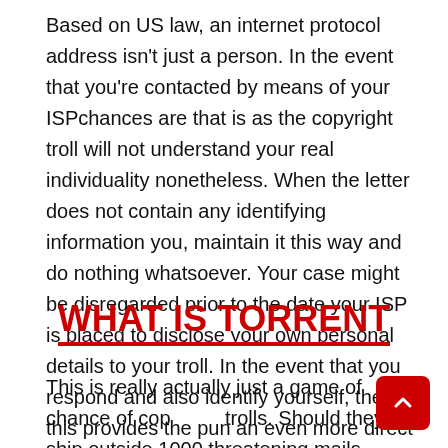Based on US law, an internet protocol address isn't just a person. In the event that you're contacted by means of your ISPchances are that is as the copyright troll will not understand your real individuality nonetheless. When the letter does not contain any identifying information you, maintain it this way and do nothing whatsoever. Your case might be disregarded prior to the date your ISP is placed to disclose your own personal details to your troll. In the event that you respond and also identify yourself, then this provides the pun an even more direct way of satisfying you.
WHAT IS TORRENT
This is really actually just a game of chance of copy trolls. Should they ship outside 1000 threatening mails